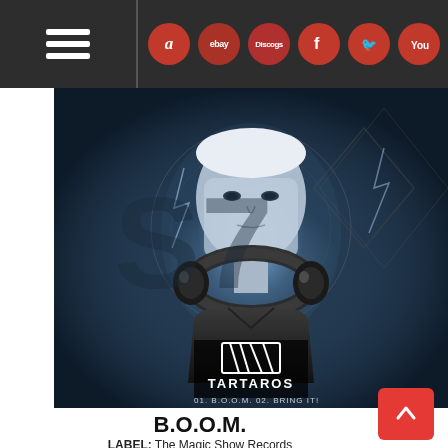Navigation bar with menu and social/shop icons: Amazon, eBay, Discogs, Facebook, Twitter, YouTube, Instagram, Email
[Figure (photo): Promotional album art for DJ Tartaros EP – close-up of a young male DJ with headphones around his neck, intense gaze, dark atmospheric background with lightning and geometric shapes. Logo 'TARTAROS' at bottom with tracklist: 01. B.O.O.M. / 02. BRING IT!]
B.O.O.M.
LABEL: The Magic Show Records
2013-05-27